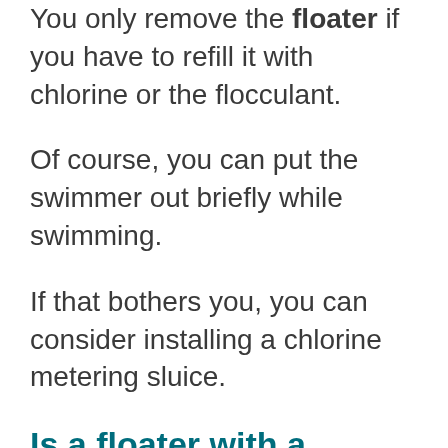You only remove the floater if you have to refill it with chlorine or the flocculant.
Of course, you can put the swimmer out briefly while swimming.
If that bothers you, you can consider installing a chlorine metering sluice.
Is a floater with a thermometer recommended?
Some advisors claim that when